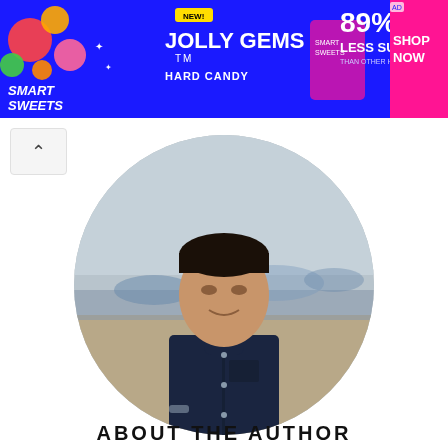[Figure (infographic): Smart Sweets advertisement banner for Jolly Gems Hard Candy: blue background with candy graphics, NEW badge, '89% LESS SUGAR THAN OTHER HARD CANDIES' text, and yellow SHOP NOW button]
[Figure (photo): Circular profile photo of a young man named Md Mahedi Hasan wearing a dark navy blue shirt, standing outdoors at what appears to be a beach or sandy area with a hazy background]
Md Mahedi Hasan
ABOUT THE AUTHOR